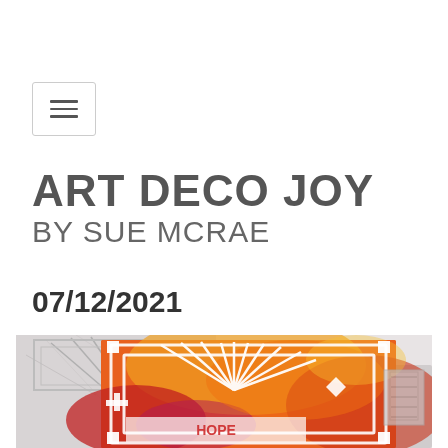[Figure (other): Hamburger/navigation menu button icon with three horizontal lines inside a rounded rectangle border]
ART DECO JOY
BY SUE MCRAE
07/12/2021
[Figure (photo): Photo of art deco style handmade cards with geometric patterns in orange, red, and pink watercolor ink on a marble surface, featuring white die-cut geometric designs and the word HOPE]